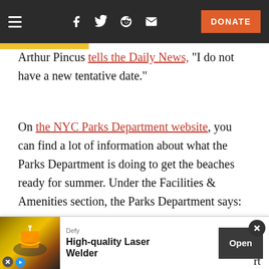Navigation bar with hamburger menu, social icons (Facebook, Twitter, Reddit, Email), and DONATE button
Arthur Pincus tells the Daily News, "I do not have a new tentative date."
On the NYC Parks Department website, you can find a lot of information about what the Parks Department is doing to get the beaches ready for summer. Under the Facilities & Amenities section, the Parks Department says:
In early April, we began driving piles t... rt
[Figure (screenshot): Advertisement overlay: Defy - High-quality Laser Welder with Open button and close X button]